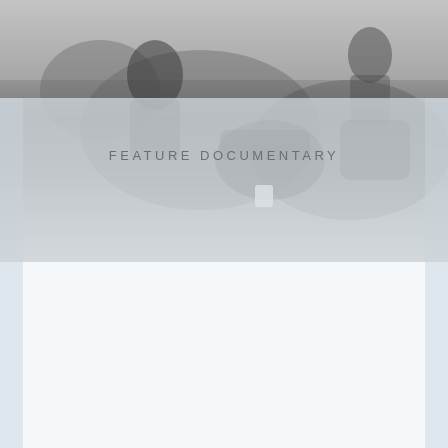[Figure (photo): Black and white photograph of a man near motorcycles, with another person in the background. A semi-transparent light grey/white overlay band covers the lower portion of the photo.]
FEATURE DOCUMENTARY